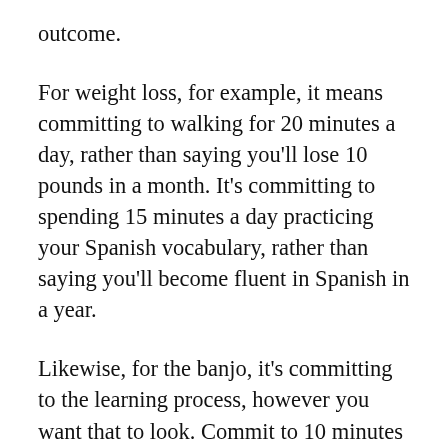outcome.
For weight loss, for example, it means committing to walking for 20 minutes a day, rather than saying you'll lose 10 pounds in a month. It's committing to spending 15 minutes a day practicing your Spanish vocabulary, rather than saying you'll become fluent in Spanish in a year.
Likewise, for the banjo, it's committing to the learning process, however you want that to look. Commit to 10 minutes a day working on new material and skills, and 10